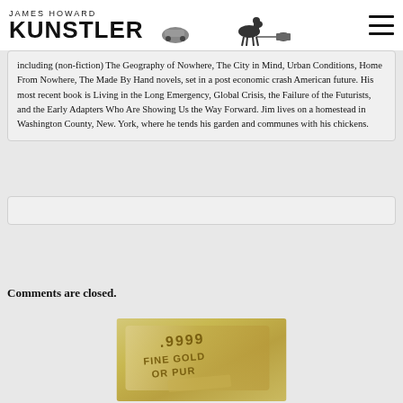JAMES HOWARD KUNSTLER
including (non-fiction) The Geography of Nowhere, The City in Mind, Urban Conditions, Home From Nowhere, The Made By Hand novels, set in a post economic crash American future. His most recent book is Living in the Long Emergency, Global Crisis, the Failure of the Futurists, and the Early Adapters Who Are Showing Us the Way Forward. Jim lives on a homestead in Washington County, New York, where he tends his garden and communes with his chickens.
Comments are closed.
[Figure (photo): Close-up photo of a gold bar stamped with '1 oz .9999 FINE GOLD OR PUR']